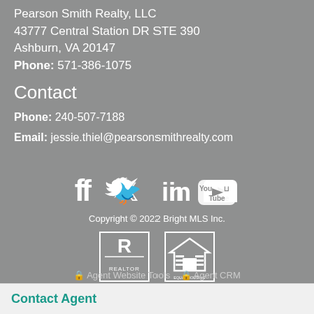Pearson Smith Realty, LLC
43777 Central Station DR STE 390
Ashburn, VA 20147
Phone: 571-386-1075
Contact
Phone: 240-507-7188
Email: jessie.thiel@pearsonsmithrealty.com
[Figure (infographic): Social media icons: Facebook, Twitter, LinkedIn, YouTube]
Copyright © 2022 Bright MLS Inc.
[Figure (logo): Realtor logo and Equal Housing Opportunity logo]
Agent Website Tools   Agent CRM
Contact Agent